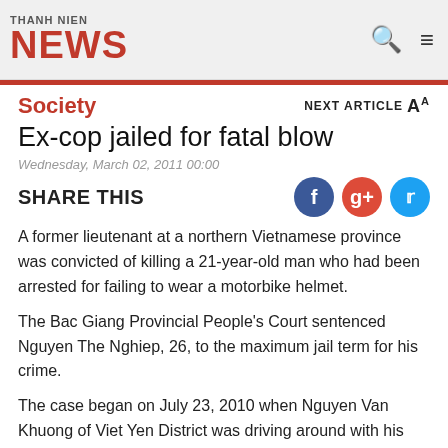THANH NIEN NEWS
Society
Ex-cop jailed for fatal blow
Wednesday, March 02, 2011 00:00
SHARE THIS
A former lieutenant at a northern Vietnamese province was convicted of killing a 21-year-old man who had been arrested for failing to wear a motorbike helmet.
The Bac Giang Provincial People's Court sentenced Nguyen The Nghiep, 26, to the maximum jail term for his crime.
The case began on July 23, 2010 when Nguyen Van Khuong of Viet Yen District was driving around with his girlfriend, Pham Thi Ngoan. Several traffic police pulled Khuong over as he drove down a road in Tan Yen District.
According to the indictment, Khuong was taken to the district police station